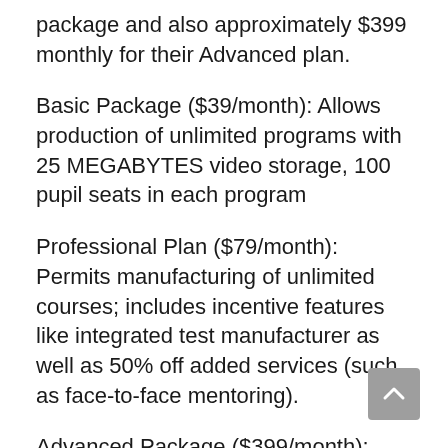package and also approximately $399 monthly for their Advanced plan.
Basic Package ($39/month): Allows production of unlimited programs with 25 MEGABYTES video storage, 100 pupil seats in each program
Professional Plan ($79/month): Permits manufacturing of unlimited courses; includes incentive features like integrated test manufacturer as well as 50% off added services (such as face-to-face mentoring).
Advanced Package ($399/month): Consists of all benefits provided above in addition